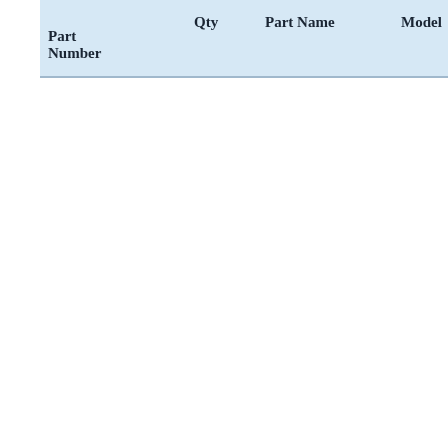| Part Number | Qty | Part Name | Model | Year(s) |
| --- | --- | --- | --- | --- |
|  |  |  |  | 1973 |
|  |  |  |  | 1974 |
|  |  |  |  | 1975 |